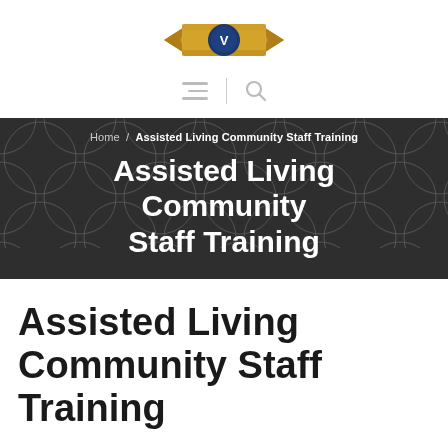[Figure (logo): Gold ribbon banner with blue shield/crest logo icon in the center]
≡  |  🔍
Home  /  Assisted Living Community Staff Training
Assisted Living Community Staff Training
Assisted Living Community Staff Training
Staff turnover can be nearly as big a challenge to